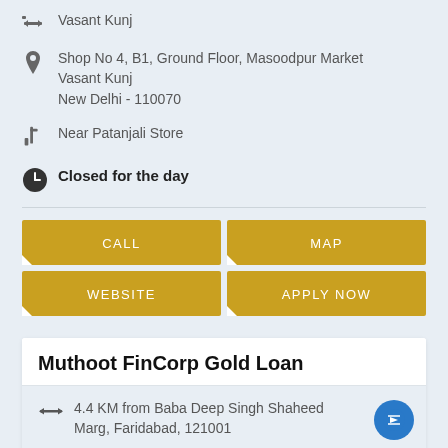Vasant Kunj
Shop No 4, B1, Ground Floor, Masoodpur Market
Vasant Kunj
New Delhi - 110070
Near Patanjali Store
Closed for the day
CALL
MAP
WEBSITE
APPLY NOW
Muthoot FinCorp Gold Loan
4.4 KM from Baba Deep Singh Shaheed Marg, Faridabad, 121001
Chirag Delhi